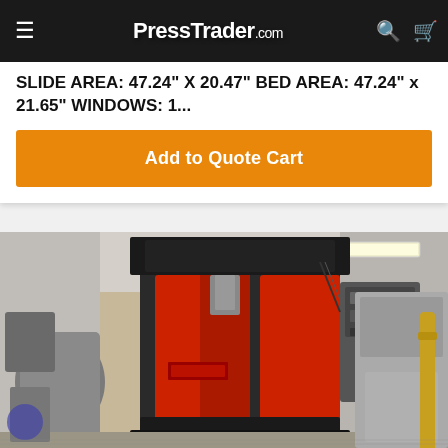PressTrader.com
SLIDE AREA: 47.24" X 20.47" BED AREA: 47.24" x 21.65" WINDOWS: 1...
Add to Quote Cart
[Figure (photo): Industrial red and black mechanical press machine in a workshop/factory setting, with control panels on the side and ceiling fluorescent lighting visible in the background.]